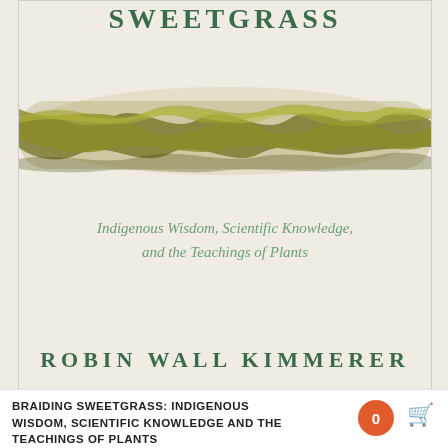SWEETGRASS
[Figure (photo): Close-up photograph of a braided sweetgrass braid on a cream/beige textured background]
Indigenous Wisdom, Scientific Knowledge, and the Teachings of Plants
ROBIN WALL KIMMERER
BRAIDING SWEETGRASS: INDIGENOUS WISDOM, SCIENTIFIC KNOWLEDGE AND THE TEACHINGS OF PLANTS